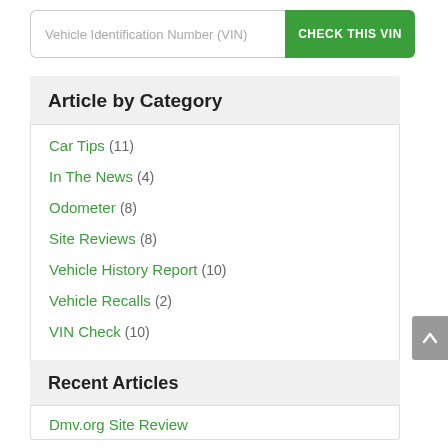Vehicle Identification Number (VIN)
CHECK THIS VIN
Article by Category
Car Tips (11)
In The News (4)
Odometer (8)
Site Reviews (8)
Vehicle History Report (10)
Vehicle Recalls (2)
VIN Check (10)
Recent Articles
Dmv.org Site Review